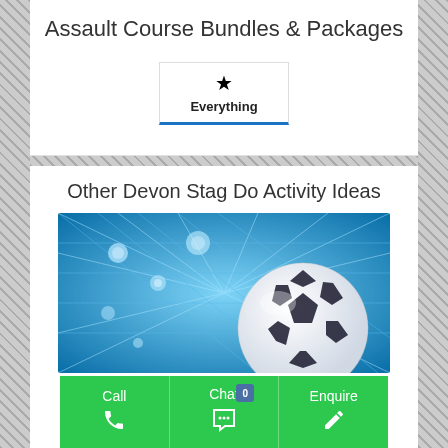Assault Course Bundles & Packages
Everything
Other Devon Stag Do Activity Ideas
[Figure (photo): Soccer/football on a blue background with light rays and water droplets, representing a football activity]
Call | Chat 0 | Enquire